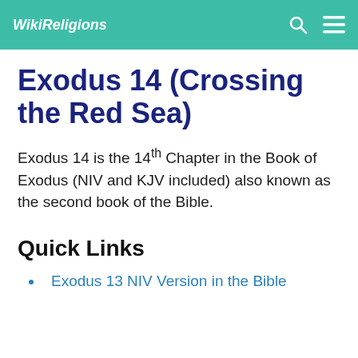WikiReligions
Exodus 14 (Crossing the Red Sea)
Exodus 14 is the 14th Chapter in the Book of Exodus (NIV and KJV included) also known as the second book of the Bible.
Quick Links
Exodus 13 NIV Version in the Bible